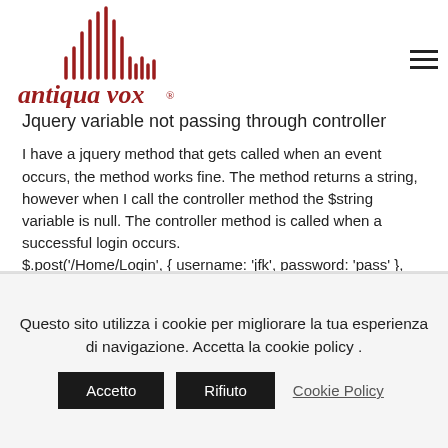[Figure (logo): Antiqua Vox logo — red waveform/bar lines graphic above italic red text 'antiqua vox ®']
Jquery variable not passing through controller
I have a jquery method that gets called when an event occurs, the method works fine. The method returns a string, however when I call the controller method the $string variable is null. The controller method is called when a successful login occurs. $.post('/Home/Login', { username: 'jfk', password: 'pass' }, function(result) { if (result == "success") {
Questo sito utilizza i cookie per migliorare la tua esperienza di navigazione. Accetta la cookie policy .
Accetto  Rifiuto  Cookie Policy